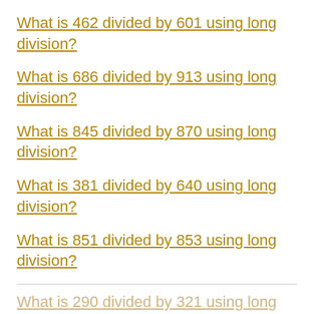What is 462 divided by 601 using long division?
What is 686 divided by 913 using long division?
What is 845 divided by 870 using long division?
What is 381 divided by 640 using long division?
What is 851 divided by 853 using long division?
What is 290 divided by 321 using long division?